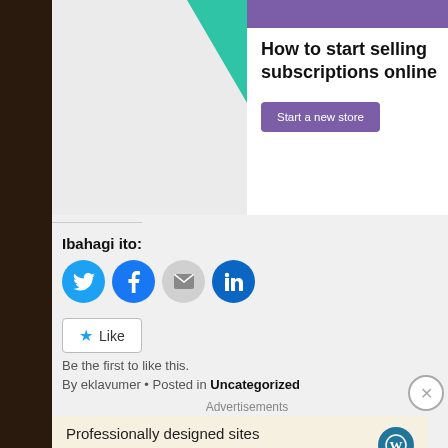[Figure (screenshot): Website advertisement banner showing 'How to start selling subscriptions online' with a purple button 'Start a new store', green triangle shape, teal circle, and purple header bar.]
Ibahagi ito:
[Figure (infographic): Social sharing icons: Twitter (blue bird), Facebook (blue f), Email (envelope), LinkedIn (blue in)]
Like
Be the first to like this.
By eklavumer • Posted in Uncategorized
Advertisements
Professionally designed sites in less than a week